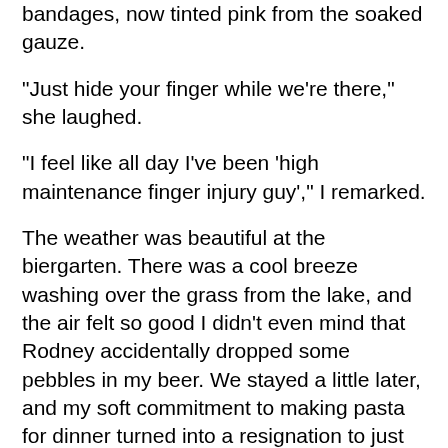bandages, now tinted pink from the soaked gauze.
"Just hide your finger while we're there," she laughed.
"I feel like all day I've been 'high maintenance finger injury guy'," I remarked.
The weather was beautiful at the biergarten. There was a cool breeze washing over the grass from the lake, and the air felt so good I didn't even mind that Rodney accidentally dropped some pebbles in my beer. We stayed a little later, and my soft commitment to making pasta for dinner turned into a resignation to just pick up Portillo's on the way home instead.
Back at home, Marissa was kind enough to redo the bandage on my finger. And the second iteration of the dressing was good enough to allow me to type - not as quickly or accurately usual, but it's getting the job done.
Thanks for stopping by today. Be careful with knives.